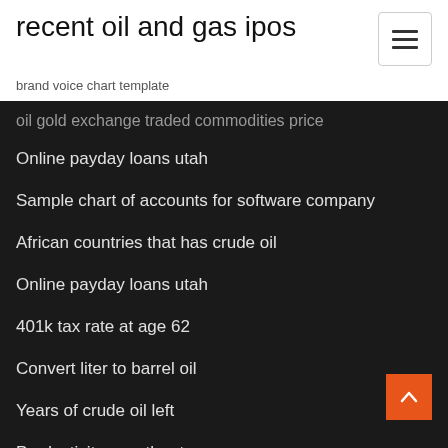recent oil and gas ipos
brand voice chart template
oil gold exchange traded commodities price
Online payday loans utah
Sample chart of accounts for software company
African countries that has crude oil
Online payday loans utah
401k tax rate at age 62
Convert liter to barrel oil
Years of crude oil left
Productivity growth rate us
Use index hint oracle
Crude oil trading business plan